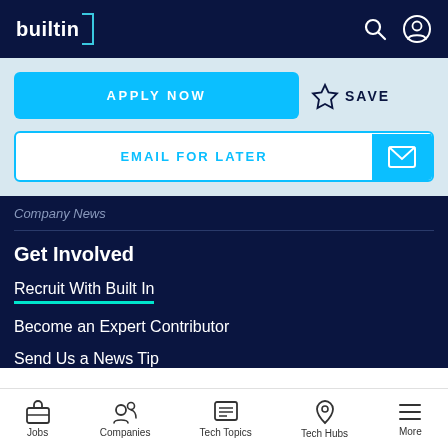builtin
APPLY NOW
SAVE
EMAIL FOR LATER
Company News
Get Involved
Recruit With Built In
Become an Expert Contributor
Send Us a News Tip
Jobs | Companies | Tech Topics | Tech Hubs | More